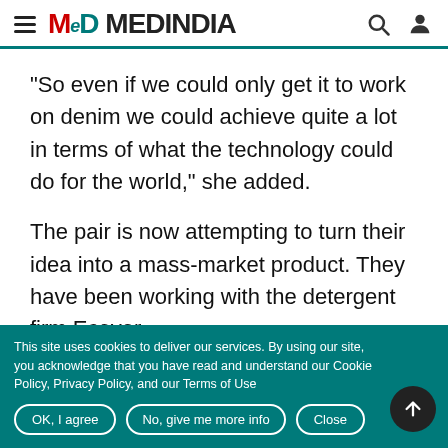MEDINDIA
"So even if we could only get it to work on denim we could achieve quite a lot in terms of what the technology could do for the world," she added.
The pair is now attempting to turn their idea into a mass-market product. They have been working with the detergent firm Ecover to...
This site uses cookies to deliver our services. By using our site, you acknowledge that you have read and understand our Cookie Policy, Privacy Policy, and our Terms of Use
OK, I agree | No, give me more info | Close